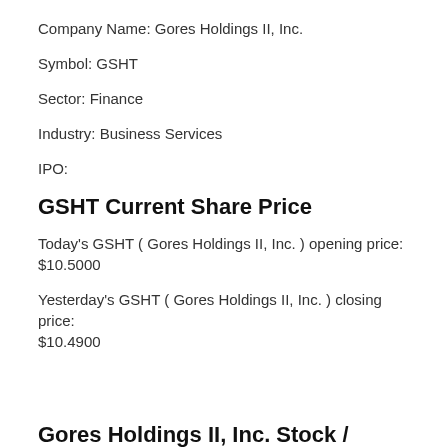Company Name: Gores Holdings II, Inc.
Symbol: GSHT
Sector: Finance
Industry: Business Services
IPO:
GSHT Current Share Price
Today's GSHT ( Gores Holdings II, Inc. ) opening price: $10.5000
Yesterday's GSHT ( Gores Holdings II, Inc. ) closing price: $10.4900
Gores Holdings II, Inc. Stock /